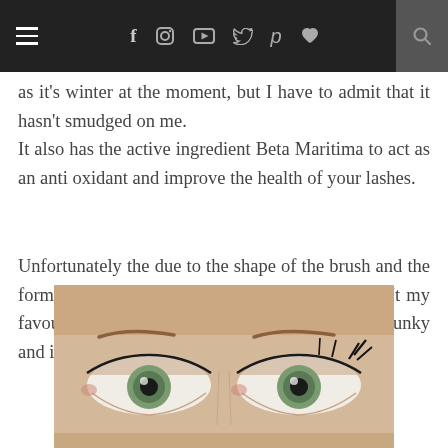Navigation bar with hamburger menu, social icons (f, Instagram, YouTube, Twitter, Pinterest, heart), and search
as it's winter at the moment, but I have to admit that it hasn't smudged on me. It also has the active ingredient Beta Maritima to act as an anti oxidant and improve the health of your lashes.
Unfortunately the due to the shape of the brush and the formula my lashes do clump a little bit and it isn't my favourite on the lashes. The large brush is a bit clunky and it isn't very good at all on my bottom lashes.
[Figure (photo): Close-up photo of a woman's eyes with mascara applied, showing green eyes and dark lashes against a light skin background]